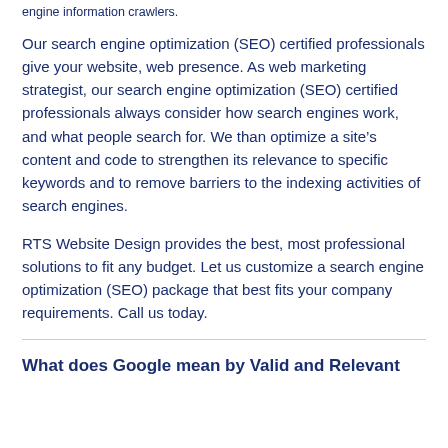engine information crawlers.
Our search engine optimization (SEO) certified professionals give your website, web presence. As web marketing strategist, our search engine optimization (SEO) certified professionals always consider how search engines work, and what people search for. We than optimize a site’s content and code to strengthen its relevance to specific keywords and to remove barriers to the indexing activities of search engines.
RTS Website Design provides the best, most professional solutions to fit any budget. Let us customize a search engine optimization (SEO) package that best fits your company requirements. Call us today.
What does Google mean by Valid and Relevant